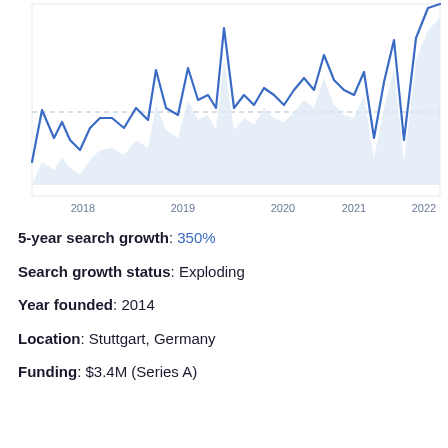[Figure (continuous-plot): Line chart showing search trend growth from 2018 to 2022. The line is blue and jagged with high volatility, showing an overall upward trend. A light blue shaded area fills below the line. X-axis labels: 2018, 2019, 2020, 2021, 2022. A dashed horizontal reference line appears mid-chart.]
5-year search growth: 350%
Search growth status: Exploding
Year founded: 2014
Location: Stuttgart, Germany
Funding: $3.4M (Series A)